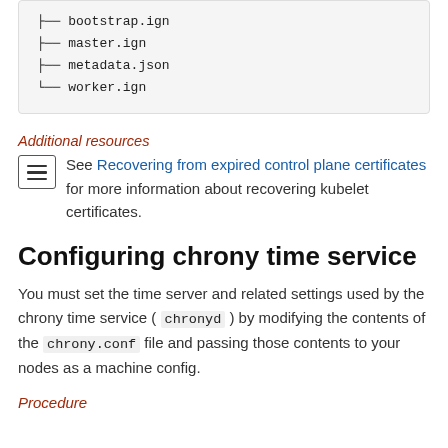[Figure (other): Code block showing a directory tree with files: bootstrap.ign, master.ign, metadata.json, worker.ign]
Additional resources
See Recovering from expired control plane certificates for more information about recovering kubelet certificates.
Configuring chrony time service
You must set the time server and related settings used by the chrony time service ( chronyd ) by modifying the contents of the chrony.conf file and passing those contents to your nodes as a machine config.
Procedure